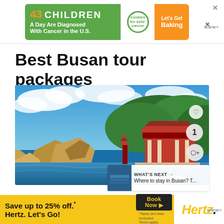[Figure (infographic): Top advertisement banner: '43 CHILDREN A Day Are Diagnosed With Cancer in the U.S.' with cookies for kids cancer logo and 'Let's Get Baking' call to action]
Best Busan tour packages
[Figure (photo): Yonggungsa Temple in Busan, South Korea - a scenic coastal Korean temple with traditional red/orange architecture set on rocky cliffs with green trees and bright blue sky with clouds. Includes heart icon, number 1 badge, and share button overlay. 'WHAT'S NEXT → Where to stay in Busan? T...' thumbnail in bottom right.]
The iconic Yonggungsa Temple in Busan is a must-
[Figure (infographic): Bottom advertisement banner: 'Save up to 25% off.* Hertz. Let's Go!' with 'Book Now' button and Hertz logo on yellow/white background]